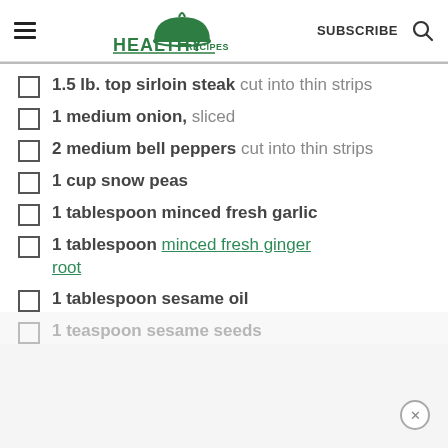HEALTHY RECIPES | SUBSCRIBE
1.5 lb. top sirloin steak cut into thin strips
1 medium onion, sliced
2 medium bell peppers cut into thin strips
1 cup snow peas
1 tablespoon minced fresh garlic
1 tablespoon minced fresh ginger root
1 tablespoon sesame oil
1 teaspoon sesame seeds